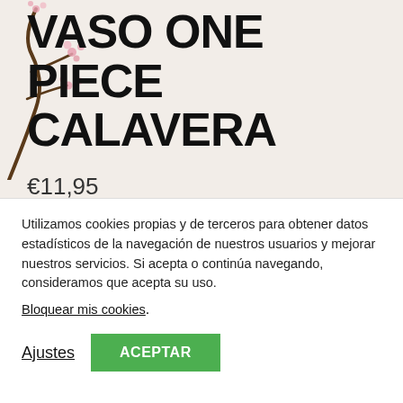VASO ONE PIECE CALAVERA
€11,95
¡Luffy está preparado para luchar contra los que hacen daño a sus nakamas con este estupendo vaso grande de One Piece de ABYstyle!
Utilizamos cookies propias y de terceros para obtener datos estadísticos de la navegación de nuestros usuarios y mejorar nuestros servicios. Si acepta o continúa navegando, consideramos que acepta su uso.
Bloquear mis cookies.
Ajustes
ACEPTAR